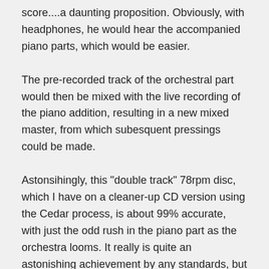score....a daunting proposition. Obviously, with headphones, he would hear the accompanied piano parts, which would be easier.
The pre-recorded track of the orchestral part would then be mixed with the live recording of the piano addition, resulting in a new mixed master, from which subesquent pressings could be made.
Astonsihingly, this "double track" 78rpm disc, which I have on a cleaner-up CD version using the Cedar process, is about 99% accurate, with just the odd rush in the piano part as the orchestra looms. It really is quite an astonishing achievement by any standards, but then, he was taught by Straube and Reger!!
My personal Maclean favourite has to be his almost contrapuntal version of "The old man of the mountain,"